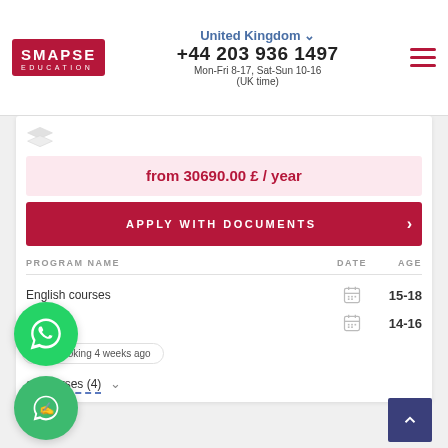SMAPSE EDUCATION | United Kingdom | +44 203 936 1497 | Mon-Fri 8-17, Sat-Sun 10-16 (UK time)
from 30690.00 £ / year
APPLY WITH DOCUMENTS
| PROGRAM NAME | DATE | AGE |
| --- | --- | --- |
| English courses | [calendar] | 15-18 |
|  | [calendar] | 14-16 |
Last booking 4 weeks ago
all courses (4)